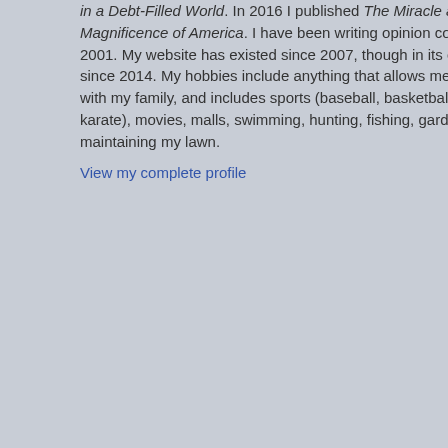in a Debt-Filled World. In 2016 I published The Miracle and Magnificence of America. I have been writing opinion columns since 2001. My website has existed since 2007, though in its current format since 2014. My hobbies include anything that allows me to spend time with my family, and includes sports (baseball, basketball, football, and karate), movies, malls, swimming, hunting, fishing, gardening, and maintaining my lawn.
View my complete profile
Fauci's Emails Den...
Never Let a Plague...
On the Origins of th... Know--And When D...
Should the Wuhan ...
The Lab-Leak Theo... Doubt
The End of the Wu...
Was Mask-Wearing...
U.S. Drug Legalizat...
Science Suggests a...
A Serious Country W...
Follow the Science...
"Faith in Science" is...
And the Science Be...
For Many Young Pe...
"Vaccine," the Cur...